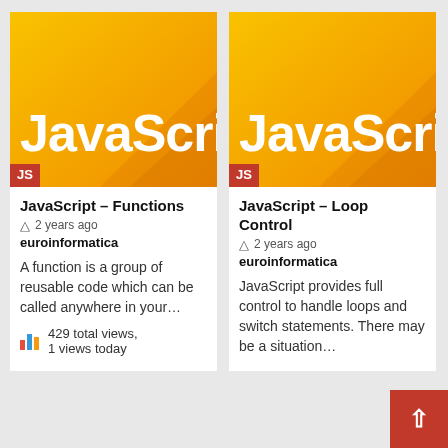[Figure (illustration): JavaScript tutorial card thumbnail with orange/yellow gradient background and 'JavaScri' text (truncated) in white bold, with 'JS' red badge at bottom left]
JavaScript – Functions
2 years ago
euroinformatica
A function is a group of reusable code which can be called anywhere in your…
429 total views, 1 views today
[Figure (illustration): JavaScript tutorial card thumbnail with orange/yellow gradient background and 'JavaScri' text (truncated) in white bold, with 'JS' red badge at bottom left]
JavaScript – Loop Control
2 years ago
euroinformatica
JavaScript provides full control to handle loops and switch statements. There may be a situation…